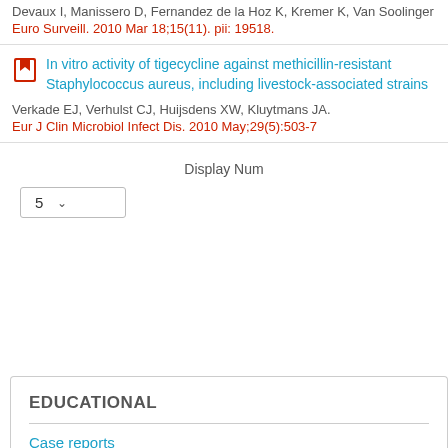Devaux I, Manissero D, Fernandez de la Hoz K, Kremer K, Van Soolingen...
Euro Surveill. 2010 Mar 18;15(11). pii: 19518.
In vitro activity of tigecycline against methicillin-resistant Staphylococcus aureus, including livestock-associated strains
Verkade EJ, Verhulst CJ, Huijsdens XW, Kluytmans JA.
Eur J Clin Microbiol Infect Dis. 2010 May;29(5):503-7
Display Num
EDUCATIONAL
Case reports